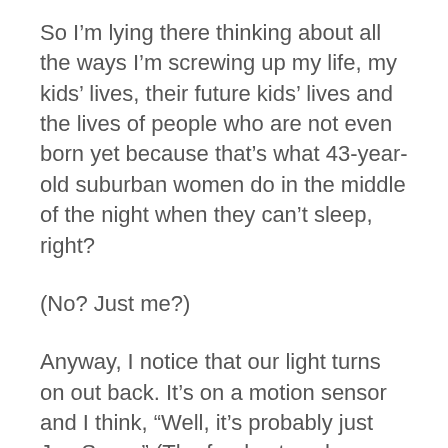So I’m lying there thinking about all the ways I’m screwing up my life, my kids’ lives, their future kids’ lives and the lives of people who are not even born yet because that’s what 43-year-old suburban women do in the middle of the night when they can’t sleep, right?
(No? Just me?)
Anyway, I notice that our light turns on out back. It’s on a motion sensor and I think, “Well, it’s probably just Jon Snow.” (The feral cat we have living in our screened-in porch.) The light goes off after a few minutes. Then it flicks back on